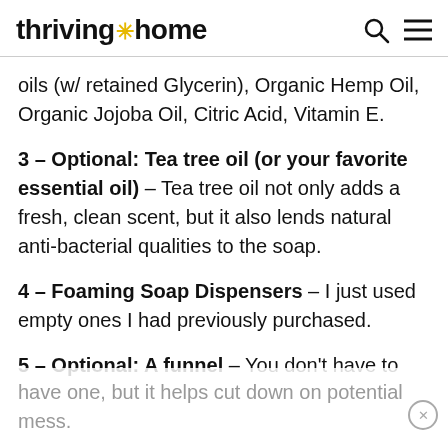thriving home
oils (w/ retained Glycerin), Organic Hemp Oil, Organic Jojoba Oil, Citric Acid, Vitamin E.
3 – Optional: Tea tree oil (or your favorite essential oil) – Tea tree oil not only adds a fresh, clean scent, but it also lends natural anti-bacterial qualities to the soap.
4 – Foaming Soap Dispensers – I just used empty ones I had previously purchased.
5 – Optional: A funnel – You don't have to have one, but it helps cut down on potential mess.